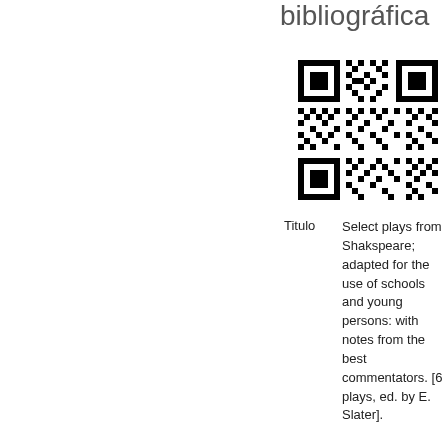bibliográfica
[Figure (other): QR code image linking to bibliographic information]
Titulo	Select plays from Shakspeare; adapted for the use of schools and young persons: with notes from the best commentators. [6 plays, ed. by E. Slater].